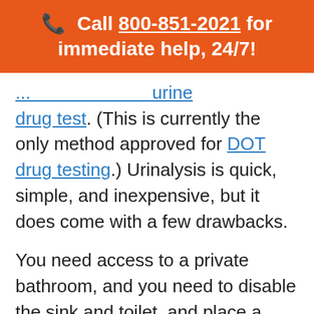📞 Call 800-851-2021 for immediate help, 24/7!
...urinalysis... drug test. (This is currently the only method approved for DOT drug testing.) Urinalysis is quick, simple, and inexpensive, but it does come with a few drawbacks.
You need access to a private bathroom, and you need to disable the sink and toilet, and place a bluing